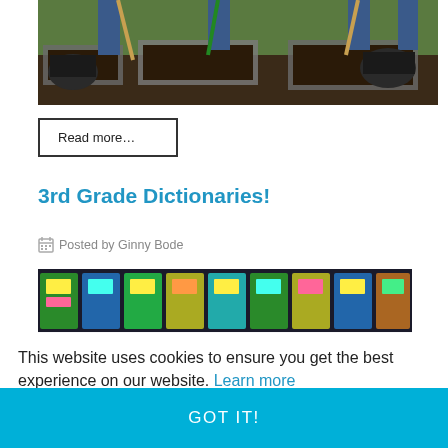[Figure (photo): People shoveling soil into raised garden beds outdoors on grass]
Read more…
3rd Grade Dictionaries!
Posted by Ginny Bode
[Figure (photo): Classroom wall display with colorful student dictionaries and sticky notes]
This website uses cookies to ensure you get the best experience on our website. Learn more
GOT IT!